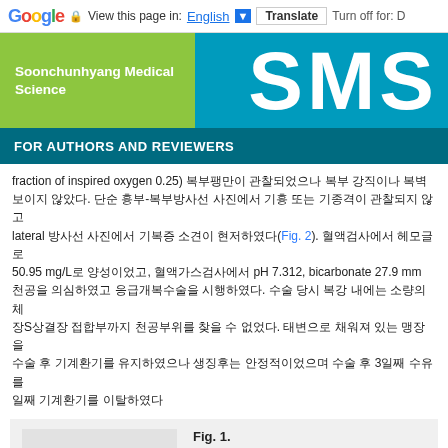Google  View this page in: English  Translate  Turn off for: D
[Figure (logo): Soonchunhyang Medical Science journal header with green and teal sections and SMS logo]
FOR AUTHORS AND REVIEWERS
fraction of inspired oxygen 0.25) 복부팽만이 관찰되었으나 복부 강직이나 복벽 보이지 않았다. 단순 흉부-복부방사선 사진에서 기흉 또는 기종격이 관찰되지 않고 lateral 방사선 사진에서 기복증 소견이 현저하였다(Fig. 2). 혈액검사에서 헤모글로 50.95 mg/L로 양성이었고, 혈액가스검사에서 pH 7.312, bicarbonate 27.9 mm 천공을 의심하였고 응급개복수술을 시행하였다. 수술 당시 복강 내에는 소량의 체 장S상결장 접합부까지 천공부위를 찾을 수 없었다. 태변으로 채워져 있는 맹장을 수술 후 기계환기를 유지하였으나 생징후는 안정적이었으며 수술 후 3일째 수유를 일째 기계환기를 이탈하였다
Fig. 1. The preoperative chest and abdomen X-ray showed free air under the right subdiaphragm.